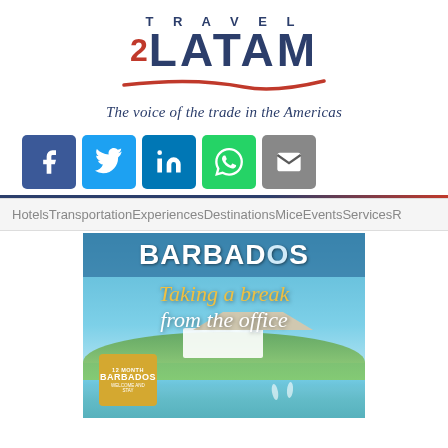[Figure (logo): Travel 2 LATAM logo with red swoosh underline]
The voice of the trade in the Americas
[Figure (infographic): Social media share buttons: Facebook, Twitter, LinkedIn, WhatsApp, Email]
HotelsTransportationExperiencesDestinationsMiceEventsServicesR
[Figure (photo): Barbados advertisement image showing aerial beach scene with text: BARBADOS Taking a break from the office, with a 12 Month Barbados Welcome and Stay badge]